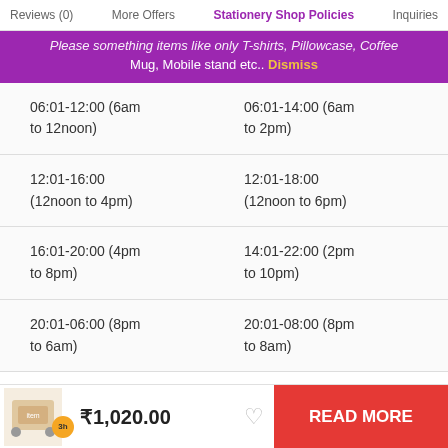Reviews (0)   More Offers   Stationery Shop Policies   Inquiries
...Mug, Mobile stand etc..  Dismiss
| 06:01-12:00 (6am to 12noon) | 06:01-14:00 (6am to 2pm) |
| 12:01-16:00 (12noon to 4pm) | 12:01-18:00 (12noon to 6pm) |
| 16:01-20:00 (4pm to 8pm) | 14:01-22:00 (2pm to 10pm) |
| 20:01-06:00 (8pm to 6am) | 20:01-08:00 (8pm to 8am) |
Order canceling requests will be accepted
₹1,020.00   READ MORE